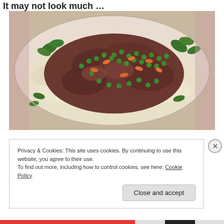It may not look much …
[Figure (photo): A plate of braised meat (lamb or beef stew) with green peas, diced carrots, and herbs served over mashed potato or polenta, garnished with fresh herbs, on a decorative plate.]
Privacy & Cookies: This site uses cookies. By continuing to use this website, you agree to their use.
To find out more, including how to control cookies, see here: Cookie Policy
Close and accept